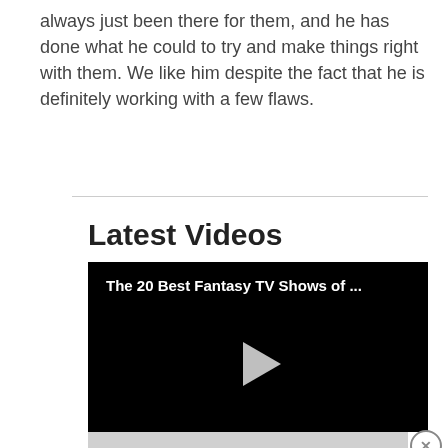always just been there for them, and he has done what he could to try and make things right with them. We like him despite the fact that he is definitely working with a few flaws.
Latest Videos
[Figure (screenshot): Video player with black background showing title 'The 20 Best Fantasy TV Shows of ...' and a play button in the center]
[Figure (other): Grey advertisement bar with close (X) button on the right]